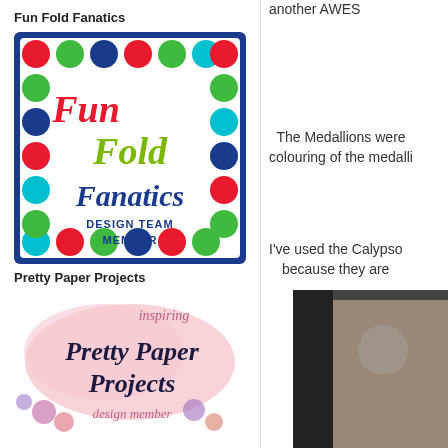Fun Fold Fanatics
[Figure (logo): Fun Fold Fanatics Design Team Member badge - colorful polka dot border with text 'Fun Fold Fanatics DESIGN TEAM MEMBER']
Pretty Paper Projects
[Figure (logo): Pretty Paper Projects design member badge with watercolor flowers background and script text 'inspiring Pretty Paper Projects design member']
another AWES
The Medallions were colouring of the medalli
I've used the Calypso because they are
[Figure (photo): Partial photo of a craft project on the right side]